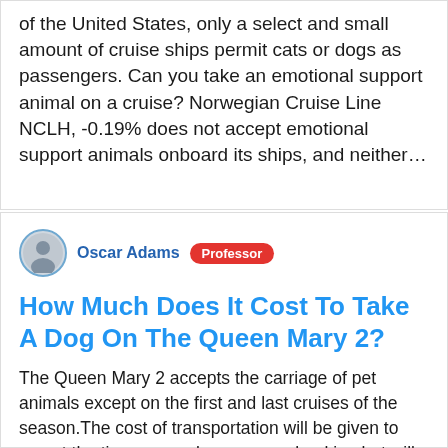of the United States, only a select and small amount of cruise ships permit cats or dogs as passengers. Can you take an emotional support animal on a cruise? Norwegian Cruise Line NCLH, -0.19% does not accept emotional support animals onboard its ships, and neither…
Oscar Adams  Professor
How Much Does It Cost To Take A Dog On The Queen Mary 2?
The Queen Mary 2 accepts the carriage of pet animals except on the first and last cruises of the season.The cost of transportation will be given to you at the time you make your own booking but will